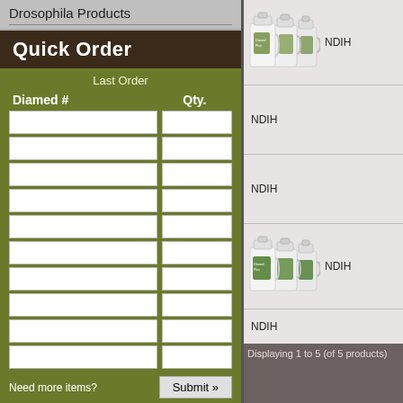Drosophila Products
Quick Order
Last Order
| Diamed # | Qty. |
| --- | --- |
|  |  |
|  |  |
|  |  |
|  |  |
|  |  |
|  |  |
|  |  |
|  |  |
|  |  |
|  |  |
Need more items?
[Figure (photo): Three white jugs of product (NDIH) - first row]
NDIH
NDIH
[Figure (photo): Three white/green jugs of product (NDIH) - fourth row]
NDIH
NDIH
Displaying 1 to 5 (of 5 products)